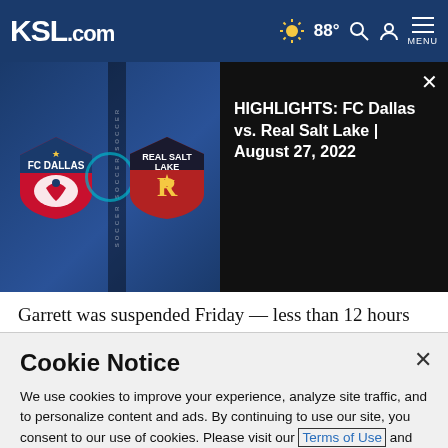KSL.com — 88° Search Account Menu
[Figure (screenshot): Video popup showing FC Dallas vs Real Salt Lake match with title 'HIGHLIGHTS: FC Dallas vs. Real Salt Lake | August 27, 2022']
Garrett was suspended Friday — less than 12 hours after his violent actions — for at least the last six regular-season games and the playoffs should Cleveland (4-6) get there. It's the longest suspension in league history for a single on-field
Cookie Notice
We use cookies to improve your experience, analyze site traffic, and to personalize content and ads. By continuing to use our site, you consent to our use of cookies. Please visit our Terms of Use and  Privacy Policy for more information.
Continue